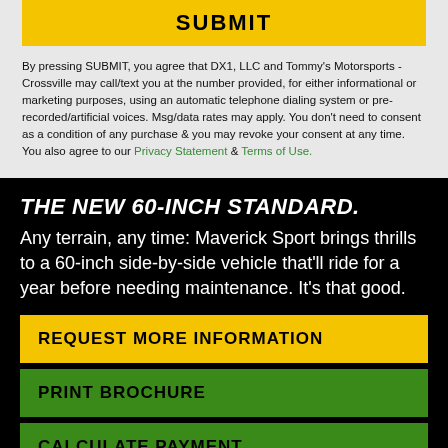SUBMIT
By pressing SUBMIT, you agree that DX1, LLC and Tommy's Motorsports - Crossville may call/text you at the number provided, for either informational or marketing purposes, using an automatic telephone dialing system or pre-recorded/artificial voices. Msg/data rates may apply. You don't need to consent as a condition of any purchase & you may revoke your consent at any time. You also agree to our Privacy Statement & Terms of Use.
THE NEW 60-INCH STANDARD.
Any terrain, any time: Maverick Sport brings thrills to a 60-inch side-by-side vehicle that'll ride for a year before needing maintenance. It's that good.
REQUEST MORE INFORMATION
PRINT BROCHURE
CALCULATE PAYMENT